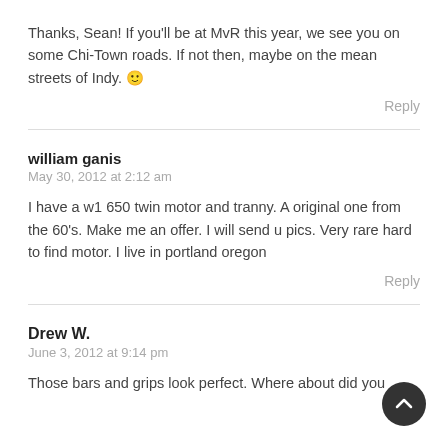Thanks, Sean! If you'll be at MvR this year, we see you on some Chi-Town roads. If not then, maybe on the mean streets of Indy. 🙂
Reply
william ganis
May 30, 2012 at 2:12 am
I have a w1 650 twin motor and tranny. A original one from the 60's. Make me an offer. I will send u pics. Very rare hard to find motor. I live in portland oregon
Reply
Drew W.
June 3, 2012 at 9:14 pm
Those bars and grips look perfect. Where about did you